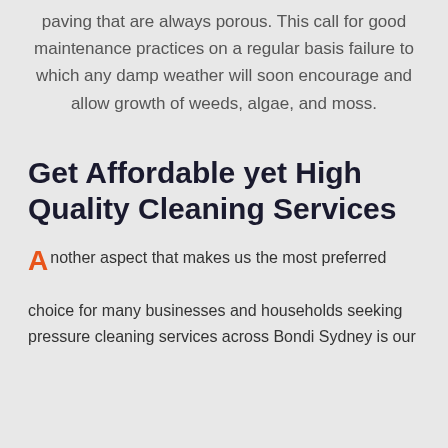paving that are always porous. This call for good maintenance practices on a regular basis failure to which any damp weather will soon encourage and allow growth of weeds, algae, and moss.
Get Affordable yet High Quality Cleaning Services
Another aspect that makes us the most preferred choice for many businesses and households seeking pressure cleaning services across Bondi Sydney is our